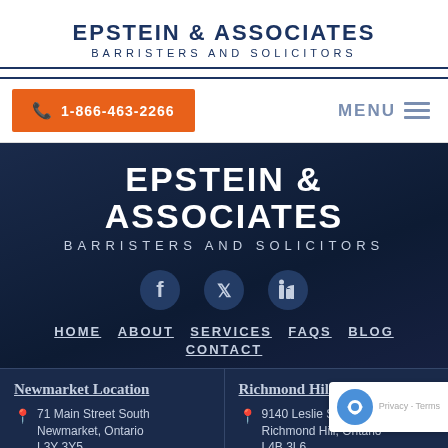EPSTEIN & ASSOCIATES BARRISTERS AND SOLICITORS
1-866-463-2266
MENU
EPSTEIN & ASSOCIATES BARRISTERS AND SOLICITORS
[Figure (logo): Facebook, Twitter, LinkedIn social media icons in dark blue tones]
HOME
ABOUT
SERVICES
FAQS
BLOG
CONTACT
Newmarket Location
71 Main Street South
Newmarket, Ontario
L3Y 3Y5
905-898-2266
905-898-2216
Richmond Hill Location
9140 Leslie Street, Unit 403
Richmond Hill, Ontario
L4B 3L6
416-777-2210
844-324-2216